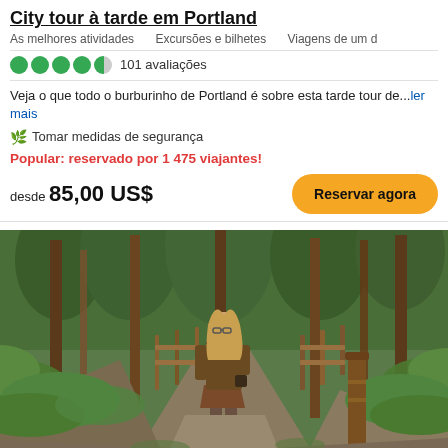City tour à tarde em Portland
As melhores atividades    Excursões e bilhetes    Viagens de um d
101 avaliações
Veja o que todo o burburinho de Portland é sobre esta tarde tour de...ler mais
🌿 Tomar medidas de segurança
Popular: reservado por 1 475 viajantes!
desde 85,00 US$
[Figure (photo): Woman with long blonde hair wearing a brown jacket and skirt walking on a forest trail with wooden fence and lush green ferns, Portland nature area]